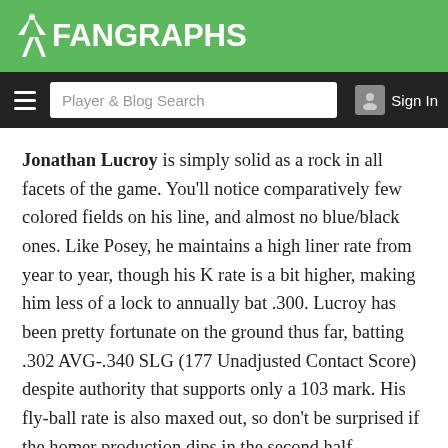FanGraphs
Jonathan Lucroy is simply solid as a rock in all facets of the game. You’ll notice comparatively few colored fields on his line, and almost no blue/black ones. Like Posey, he maintains a high liner rate from year to year, though his K rate is a bit higher, making him less of a lock to annually bat .300. Lucroy has been pretty fortunate on the ground thus far, batting .302 AVG-.340 SLG (177 Unadjusted Contact Score) despite authority that supports only a 103 mark. His fly-ball rate is also maxed out, so don’t be surprised if the homer production dips in the second half.